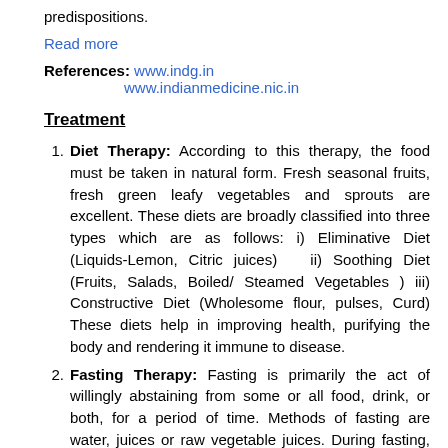predispositions.
Read more
References: www.indg.in
                    www.indianmedicine.nic.in
Treatment
Diet Therapy: According to this therapy, the food must be taken in natural form. Fresh seasonal fruits, fresh green leafy vegetables and sprouts are excellent. These diets are broadly classified into three types which are as follows: i) Eliminative Diet (Liquids-Lemon, Citric juices)   ii) Soothing Diet (Fruits, Salads, Boiled/ Steamed Vegetables ) iii) Constructive Diet (Wholesome flour, pulses, Curd) These diets help in improving health, purifying the body and rendering it immune to disease.
Fasting Therapy: Fasting is primarily the act of willingly abstaining from some or all food, drink, or both, for a period of time. Methods of fasting are water, juices or raw vegetable juices. During fasting, the body burns up and excretes huge